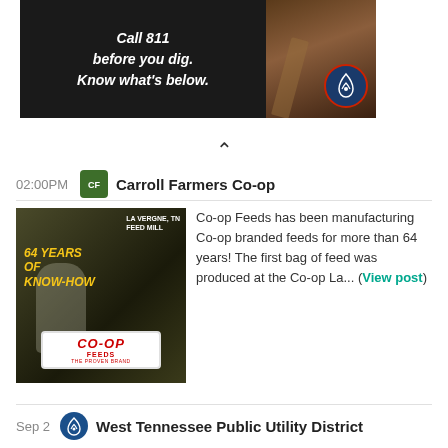[Figure (photo): Advertisement banner: dark background with text 'Call 811 before you dig. Know what's below.' with a shovel and dirt image, and West Tennessee Public Utility District logo circle badge]
[Figure (photo): Feed mill worker at La Vergne TN Feed Mill - 64 Years of Know-How, Co-op Feeds logo branding image]
Co-op Feeds has been manufacturing Co-op branded feeds for more than 64 years! The first bag of feed was produced at the Co-op La... (View post)
02:00PM  Carroll Farmers Co-op
Sep 2  West Tennessee Public Utility District